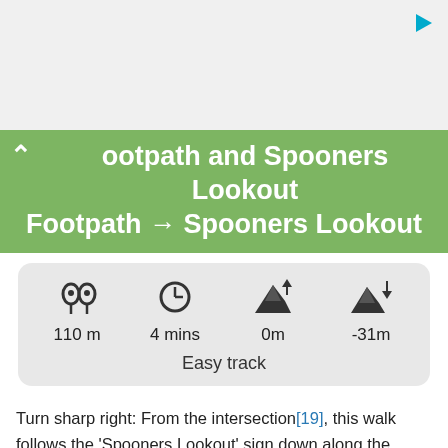[Figure (other): Play/video icon in top right corner of grey bar]
ootpath and Spooners Lookout
Footpath → Spooners Lookout
[Figure (infographic): Info box showing: 110 m distance, 4 mins time, 0m elevation gain, -31m elevation loss, Easy track]
Turn sharp right: From the intersection[19], this walk follows the 'Spooners Lookout' sign down along the concrete path, initially keeping the fence to the left. The path leads gently downhill to a signposted three-way intersection[20].
Continue straight: From the intersection, this walk follows the 'Spooners Lookout' arrow[21] gently downhill along